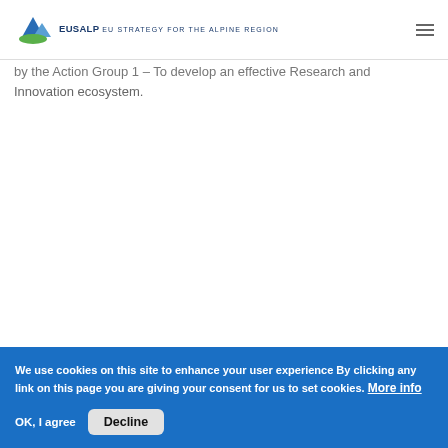EUSALP EU STRATEGY FOR THE ALPINE REGION
by the Action Group 1 – To develop an effective Research and Innovation ecosystem.
We use cookies on this site to enhance your user experience By clicking any link on this page you are giving your consent for us to set cookies. More info
OK, I agree
Decline